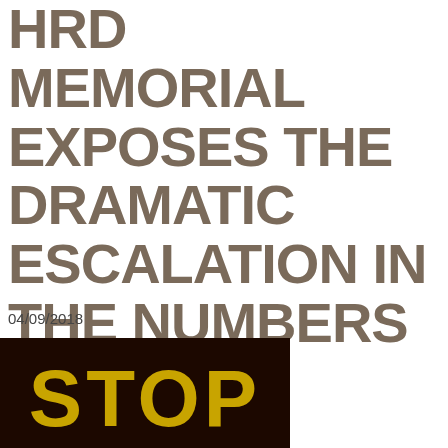HRD MEMORIAL EXPOSES THE DRAMATIC ESCALATION IN THE NUMBERS OF HRDS KILLED IN RECENT YEARS.
04/09/2018
[Figure (photo): Dark brown/black background with large yellow/gold bold text reading 'STOP']